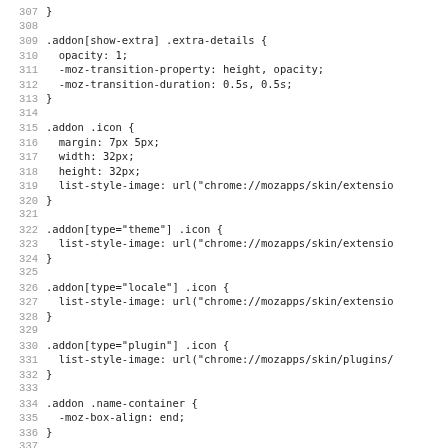CSS source code lines 307-339
307 }
308
309 .addon[show-extra] .extra-details {
310   opacity: 1;
311   -moz-transition-property: height, opacity;
312   -moz-transition-duration: 0.5s, 0.5s;
313 }
314
315 .addon .icon {
316   margin: 7px 5px;
317   width: 32px;
318   height: 32px;
319   list-style-image: url("chrome://mozapps/skin/extensio
320 }
321
322 .addon[type="theme"] .icon {
323   list-style-image: url("chrome://mozapps/skin/extensio
324 }
325
326 .addon[type="locale"] .icon {
327   list-style-image: url("chrome://mozapps/skin/extensio
328 }
329
330 .addon[type="plugin"] .icon {
331   list-style-image: url("chrome://mozapps/skin/plugins/
332 }
333
334 .addon .name-container {
335   -moz-box-align: end;
336 }
337
338 .addon .name,
339 .addon .version {